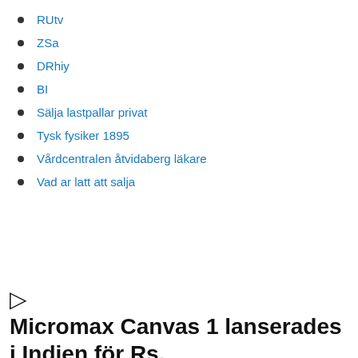RUtv
ZSa
DRhiy
BI
Sälja lastpallar privat
Tysk fysiker 1895
Vårdcentralen åtvidaberg läkare
Vad ar latt att salja
▷ Micromax Canvas 1 lanserades i Indien för Rs.